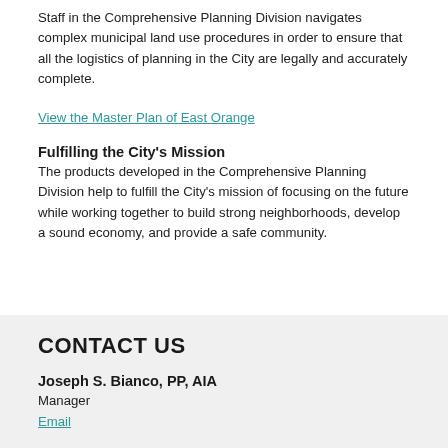Staff in the Comprehensive Planning Division navigates complex municipal land use procedures in order to ensure that all the logistics of planning in the City are legally and accurately complete.
View the Master Plan of East Orange
Fulfilling the City's Mission
The products developed in the Comprehensive Planning Division help to fulfill the City's mission of focusing on the future while working together to build strong neighborhoods, develop a sound economy, and provide a safe community.
CONTACT US
Joseph S. Bianco, PP, AIA
Manager
Email